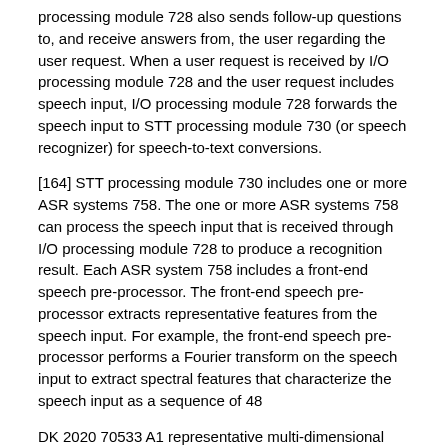processing module 728 also sends follow-up questions to, and receive answers from, the user regarding the user request. When a user request is received by I/O processing module 728 and the user request includes speech input, I/O processing module 728 forwards the speech input to STT processing module 730 (or speech recognizer) for speech-to-text conversions.
[164] STT processing module 730 includes one or more ASR systems 758. The one or more ASR systems 758 can process the speech input that is received through I/O processing module 728 to produce a recognition result. Each ASR system 758 includes a front-end speech pre-processor. The front-end speech pre-processor extracts representative features from the speech input. For example, the front-end speech pre-processor performs a Fourier transform on the speech input to extract spectral features that characterize the speech input as a sequence of 48
DK 2020 70533 A1 representative multi-dimensional vectors. Further, each ASR system 758 includes one or more speech recognition models (e.g., acoustic models and/or language models) and implements one or more